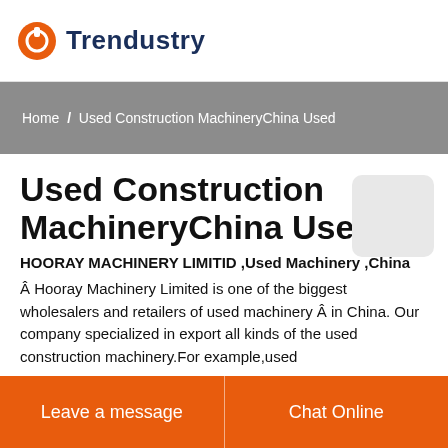Trendustry
Home / Used Construction MachineryChina Used
Used Construction MachineryChina Used
HOORAY MACHINERY LIMITID ,Used Machinery ,China
Â Hooray Machinery Limited is one of the biggest wholesalers and retailers of used machinery Â in China. Our company specialized in export all kinds of the used construction machinery.For example,used
Leave a message
Chat Online